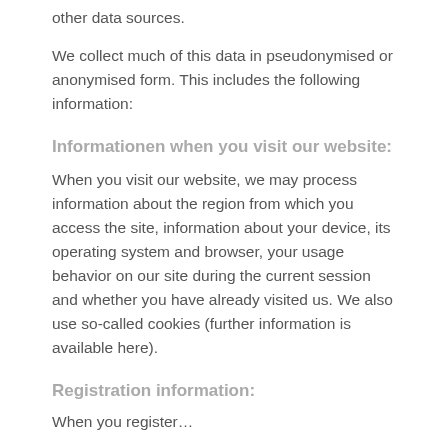other data sources.
We collect much of this data in pseudonymised or anonymised form. This includes the following information:
Informationen when you visit our website:
When you visit our website, we may process information about the region from which you access the site, information about your device, its operating system and browser, your usage behavior on our site during the current session and whether you have already visited us. We also use so-called cookies (further information is available here).
Registration information:
When you register...